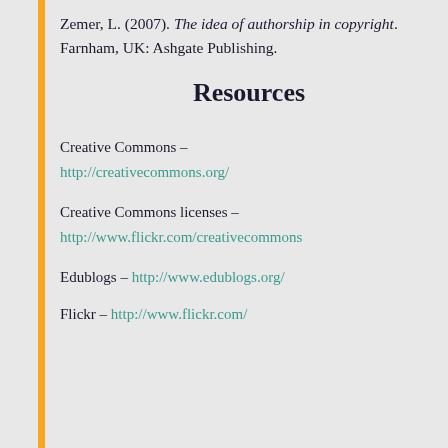Zemer, L. (2007). The idea of authorship in copyright. Farnham, UK: Ashgate Publishing.
Resources
Creative Commons – http://creativecommons.org/
Creative Commons licenses – http://www.flickr.com/creativecommons
Edublogs – http://www.edublogs.org/
Flickr – http://www.flickr.com/